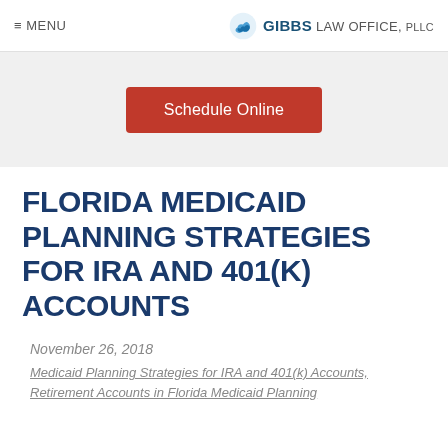≡ MENU  |  GIBBS LAW OFFICE, PLLC
[Figure (other): Schedule Online red button in gray banner]
FLORIDA MEDICAID PLANNING STRATEGIES FOR IRA AND 401(K) ACCOUNTS
November 26, 2018
Medicaid Planning Strategies for IRA and 401(k) Accounts, Retirement Accounts in Florida Medicaid Planning